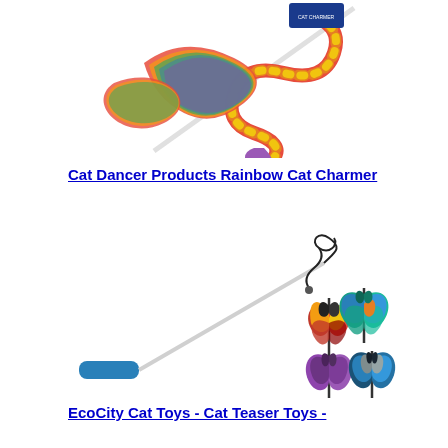[Figure (photo): Rainbow cat charmer wand toy with colorful fabric ribbon twisted and coiled, white stick wand, product packaging visible at top]
Cat Dancer Products Rainbow Cat Charmer
[Figure (photo): EcoCity cat teaser wand toy with metal wire, blue foam handle, and three colorful feather attachments in red/yellow, teal/blue, and purple/navy]
EcoCity Cat Toys - Cat Teaser Toys -